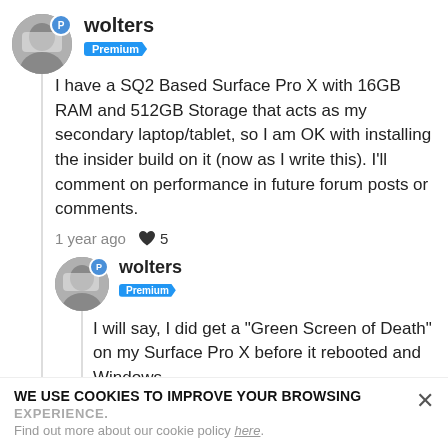[Figure (photo): User avatar for 'wolters' with Premium badge (circular photo of a man, blue P badge)]
wolters
Premium
I have a SQ2 Based Surface Pro X with 16GB RAM and 512GB Storage that acts as my secondary laptop/tablet, so I am OK with installing the insider build on it (now as I write this). I'll comment on performance in future forum posts or comments.
1 year ago ♥ 5
[Figure (photo): User avatar for 'wolters' with Premium badge (circular photo of a man, blue P badge), smaller size]
wolters
Premium
I will say, I did get a "Green Screen of Death" on my Surface Pro X before it rebooted and Windows
WE USE COOKIES TO IMPROVE YOUR BROWSING EXPERIENCE.
Find out more about our cookie policy here.